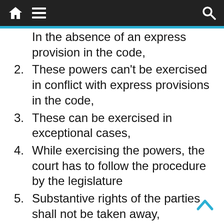navigation bar with home, menu, and search icons
In the absence of an express provision in the code,
2.  These powers can't be exercised in conflict with express provisions in the code,
3.  These can be exercised in exceptional cases,
4.  While exercising the powers, the court has to follow the procedure by the legislature
5.  Substantive rights of the parties shall not be taken away,
6.  To restrain a party from taking proceedings in a court of law,